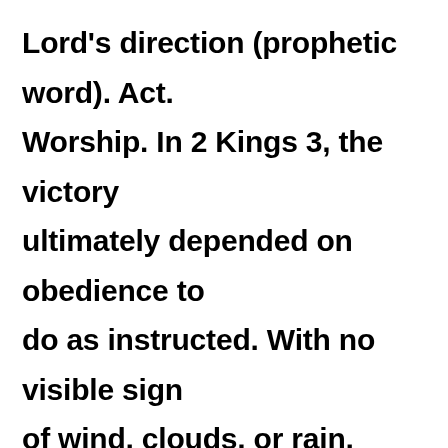Lord's direction (prophetic word). Act. Worship. In 2 Kings 3, the victory ultimately depended on obedience to do as instructed. With no visible sign of wind, clouds, or rain, trenches were dug to contain water. The deeper the trench, the greater the amount of water could be contained. hallelujah! At the